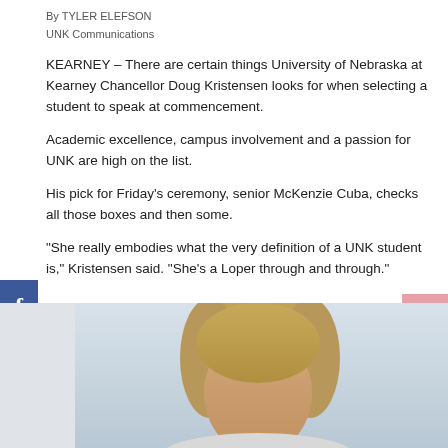By TYLER ELEFSON
UNK Communications
KEARNEY – There are certain things University of Nebraska at Kearney Chancellor Doug Kristensen looks for when selecting a student to speak at commencement.
Academic excellence, campus involvement and a passion for UNK are high on the list.
His pick for Friday's ceremony, senior McKenzie Cuba, checks all those boxes and then some.
"She really embodies what the very definition of a UNK student is," Kristensen said. "She's a Loper through and through."
[Figure (photo): Photo of a blonde woman, head and shoulders, against a light blue/grey background]